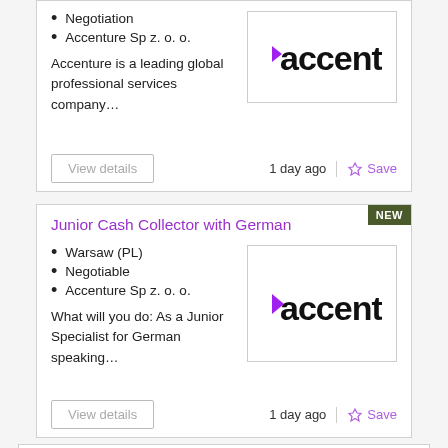Negotiation
Accenture Sp z. o. o.
Accenture is a leading global professional services company…
[Figure (logo): Accenture logo with purple arrow and bold text]
1 day ago
Save
Junior Cash Collector with German
Warsaw (PL)
Negotiable
Accenture Sp z. o. o.
What will you do: As a Junior Specialist for German speaking…
[Figure (logo): Accenture logo with purple arrow and bold text]
1 day ago
Save